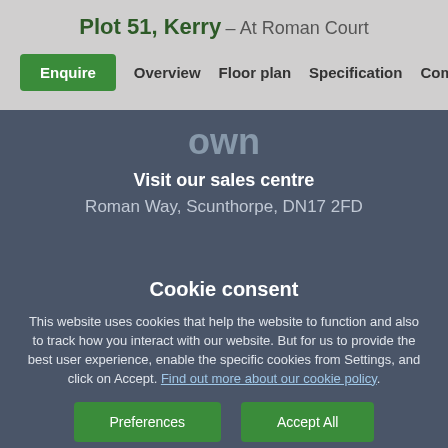Plot 51, Kerry – At Roman Court
Enquire  Overview  Floor plan  Specification  Commu...
own
Visit our sales centre
Roman Way, Scunthorpe, DN17 2FD
Cookie consent
This website uses cookies that help the website to function and also to track how you interact with our website. But for us to provide the best user experience, enable the specific cookies from Settings, and click on Accept. Find out more about our cookie policy.
Preferences
Accept All